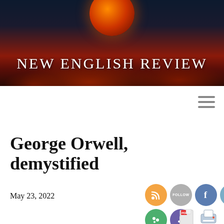[Figure (photo): Website header banner for New English Review with a blood moon over dark red storm clouds against a deep navy sky. The site name 'NEW ENGLISH REVIEW' is displayed in large white serif letters across the banner.]
NEW ENGLISH REVIEW
George Orwell, demystified
May 23, 2022
[Figure (other): Row of social media sharing icons: RSS (orange), Follow (gray), Facebook (blue), Twitter (light blue), Reddit (orange-red), and a second row with MeWe (green) and Tumblr/Trim (purple). PDF and print icons at bottom right.]